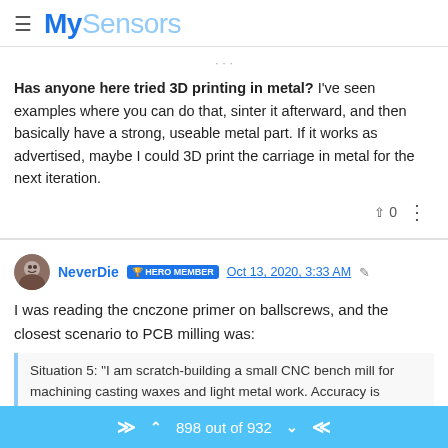MySensors
Has anyone here tried 3D printing in metal? I've seen examples where you can do that, sinter it afterward, and then basically have a strong, useable metal part. If it works as advertised, maybe I could 3D print the carriage in metal for the next iteration.
NeverDie HERO MEMBER Oct 13, 2020, 3:33 AM
I was reading the cnczone primer on ballscrews, and the closest scenario to PCB milling was:
Situation 5: "I am scratch-building a small CNC bench mill for machining casting waxes and light metal work. Accuracy is important. I am going to machine jewelry prototypes, small components for turbine engines and R/C, and other small parts with close tolerances."
898 out of 932